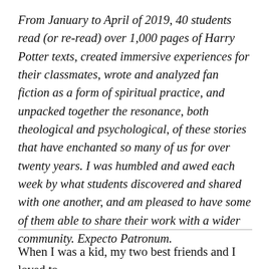From January to April of 2019, 40 students read (or re-read) over 1,000 pages of Harry Potter texts, created immersive experiences for their classmates, wrote and analyzed fan fiction as a form of spiritual practice, and unpacked together the resonance, both theological and psychological, of these stories that have enchanted so many of us for over twenty years. I was humbled and awed each week by what students discovered and shared with one another, and am pleased to have some of them able to share their work with a wider community. Expecto Patronum.
When I was a kid, my two best friends and I loved to